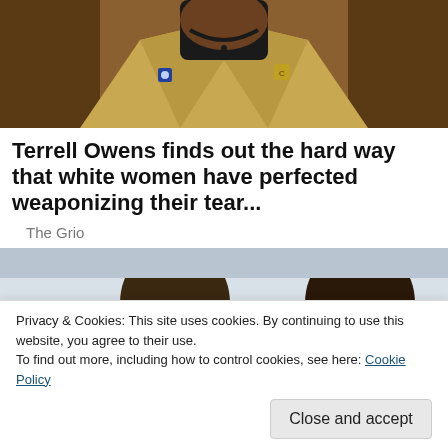[Figure (photo): Close-up of a person wearing a tan/gold blazer with small pins on the lapel and a dark shirt, with a beaded necklace visible. The photo is cropped at the neck/chin area.]
Terrell Owens finds out the hard way that white women have perfected weaponizing their tear...
The Grio
[Figure (photo): Photo showing two individuals, partial head shots visible, in what appears to be an indoor setting with a light blue/grey background.]
Privacy & Cookies: This site uses cookies. By continuing to use this website, you agree to their use.
To find out more, including how to control cookies, see here: Cookie Policy
[Figure (photo): Partial image at the bottom of the page showing multiple people, including someone in a yellow/gold jacket.]